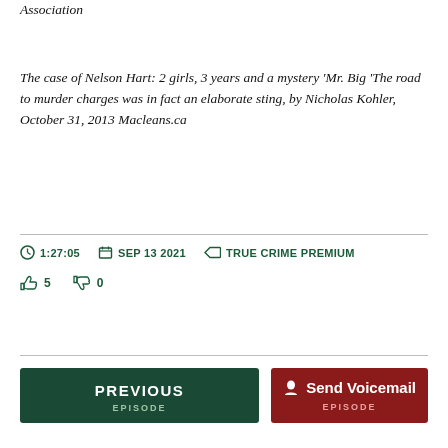Association
The case of Nelson Hart: 2 girls, 3 years and a mystery ‘Mr. Big ‘The road to murder charges was in fact an elaborate sting, by Nicholas Kohler, October 31, 2013 Macleans.ca
1:27:05   SEP 13 2021   TRUE CRIME PREMIUM   5   0
PREVIOUS EPISODE  EPISODE